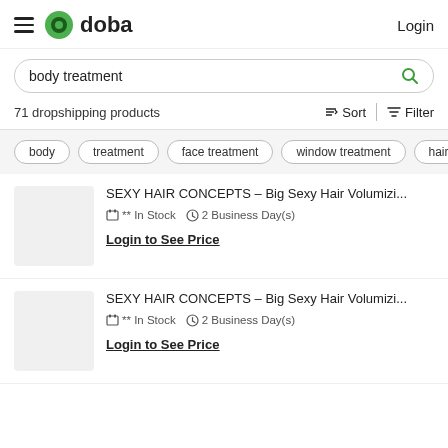doba — Login
body treatment
71 dropshipping products
Sort   Filter
body
treatment
face treatment
window treatment
hair treatm…
SEXY HAIR CONCEPTS – Big Sexy Hair Volumizi...
** In Stock   2 Business Day(s)
Login to See Price
SEXY HAIR CONCEPTS – Big Sexy Hair Volumizi...
** In Stock   2 Business Day(s)
Login to See Price